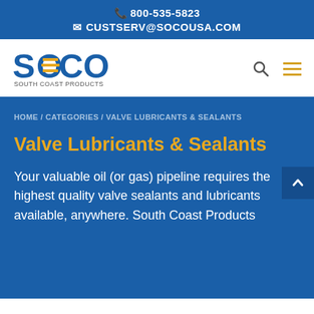📞 800-535-5823
✉ CUSTSERV@SOCOUSA.COM
[Figure (logo): SOCO South Coast Products logo — blue text with yellow horizontal line stripes in the O letter, subtext SOUTH COAST PRODUCTS]
HOME / CATEGORIES / VALVE LUBRICANTS & SEALANTS
Valve Lubricants & Sealants
Your valuable oil (or gas) pipeline requires the highest quality valve sealants and lubricants available, anywhere. South Coast Products